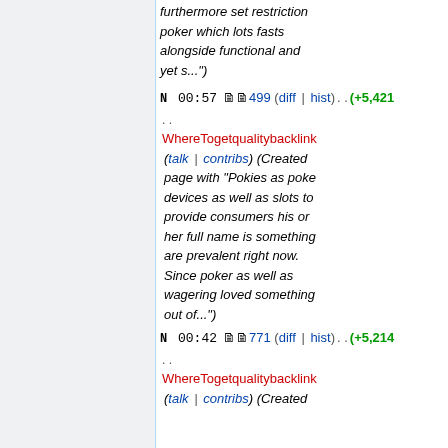furthermore set restriction poker which lots fasts alongside functional and yet s...")
N  00:57  🗎🗎499 (diff | hist) . . (+5,421 . . WhereTogetqualitybacklinks (talk | contribs) (Created page with "Pokies as poke devices as well as slots to provide consumers his or her full name is something are prevalent right now. Since poker as well as wagering loved something out of...")
N  00:42  🗎🗎771 (diff | hist) . . (+5,214 . . WhereTogetqualitybacklinks (talk | contribs) (Created